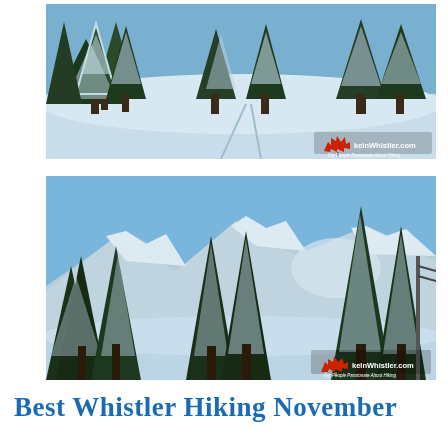[Figure (photo): Winter landscape photo showing snow-covered evergreen trees and a snow-blanketed clearing or trail, with a HikeInWhistler.com watermark in the bottom-right corner.]
[Figure (photo): Winter landscape photo showing snow-laden evergreen trees with snow-covered mountains and blue sky in the background, with a HikeInWhistler.com watermark in the bottom-right corner.]
Best Whistler Hiking November